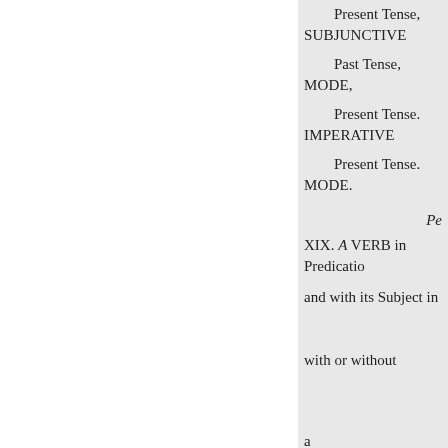Present Tense, SUBJUNCTIVE
Past Tense, MODE,
Present Tense. IMPERATIVE
Present Tense. MODE.
Pe
XIX. A VERB in Predicatio
and with its Subject in
with or without
a